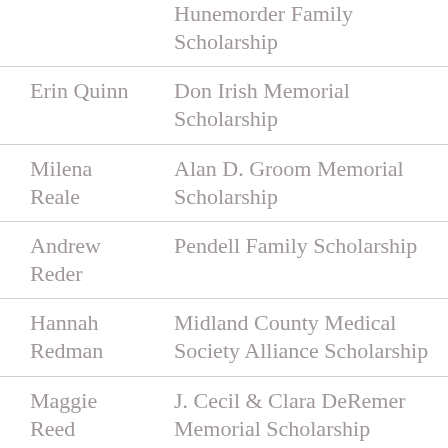| Name | Scholarship |
| --- | --- |
|  | Hunemorder Family Scholarship |
| Erin Quinn | Don Irish Memorial Scholarship |
| Milena Reale | Alan D. Groom Memorial Scholarship |
| Andrew Reder | Pendell Family Scholarship |
| Hannah Redman | Midland County Medical Society Alliance Scholarship |
| Maggie Reed | J. Cecil & Clara DeRemer Memorial Scholarship |
| Maggie Reed | Gwendolyn Bennett Bib… |